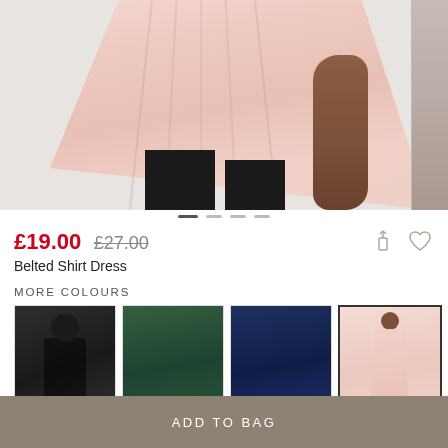[Figure (photo): Main product photo of a pink belted shirt dress worn by a model, cropped to show the dress flowing fabric. A second partial image is visible at right edge.]
£19.00 £27.00
Belted Shirt Dress
MORE COLOURS
[Figure (photo): Small thumbnail of belted shirt dress in black colour]
[Figure (photo): Small thumbnail of belted shirt dress in dark green colour]
[Figure (photo): Small thumbnail of belted shirt dress in navy colour]
[Figure (photo): Small thumbnail of belted shirt dress in pink colour, currently selected]
ADD TO BAG